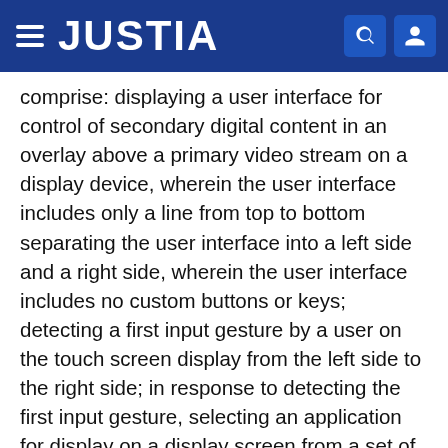JUSTIA
comprise: displaying a user interface for control of secondary digital content in an overlay above a primary video stream on a display device, wherein the user interface includes only a line from top to bottom separating the user interface into a left side and a right side, wherein the user interface includes no custom buttons or keys; detecting a first input gesture by a user on the touch screen display from the left side to the right side; in response to detecting the first input gesture, selecting an application for display on a display screen from a set of two or more applications displayed on the display screen, wherein the two or more applications are secondary digital content displayed in the overlay above the primary video stream on the display screen; detecting a second input gesture by the user on the right side of the